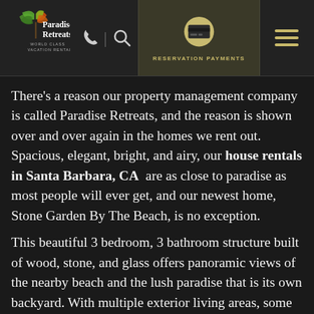[Figure (logo): Paradise Retreats World Class Vacation Rentals logo with stylized tropical plant graphic]
There’s a reason our property management company is called Paradise Retreats, and the reason is shown over and over again in the homes we rent out. Spacious, elegant, bright, and airy, our house rentals in Santa Barbara, CA are as close to paradise as most people will ever get, and our newest home, Stone Garden By The Beach, is no exception.
This beautiful 3 bedroom, 3 bathroom structure built of wood, stone, and glass offers panoramic views of the nearby beach and the lush paradise that is its own backyard. With multiple exterior living areas, some hidden away in charming nooks along the stone walls that surround the home, and vaulted ceilings that let in